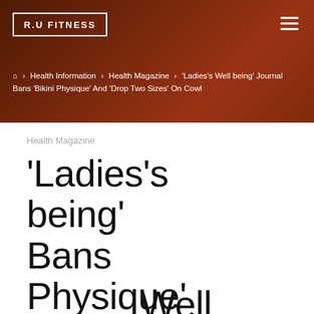R.U FITNESS
Home > Health Information > Health Magazine > 'Ladies's Well being' Journal Bans 'Bikini Physique' And 'Drop Two Sizes' On Cowl
Health Magazine
'Ladies's Well being' Journal Bans 'Bikini Physique' And